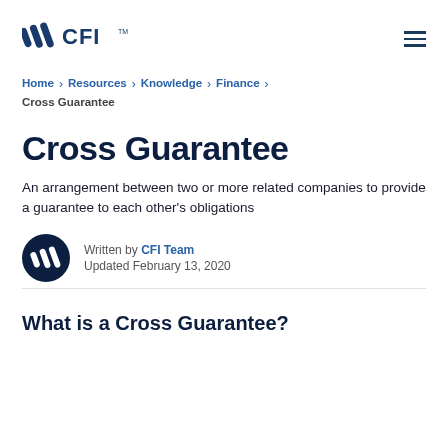CFI
Home › Resources › Knowledge › Finance › Cross Guarantee
Cross Guarantee
An arrangement between two or more related companies to provide a guarantee to each other's obligations
Written by CFI Team
Updated February 13, 2020
What is a Cross Guarantee?